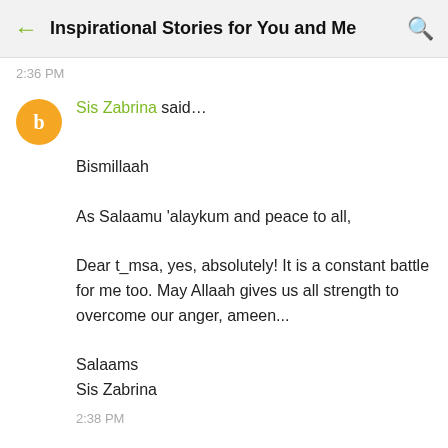Inspirational Stories for You and Me
2:36 PM
Sis Zabrina said…

Bismillaah

As Salaamu 'alaykum and peace to all,

Dear t_msa, yes, absolutely! It is a constant battle for me too. May Allaah gives us all strength to overcome our anger, ameen...

Salaams
Sis Zabrina
2:38 PM
Anonymous said…

Outstanding story there. What occurred after? Thank...